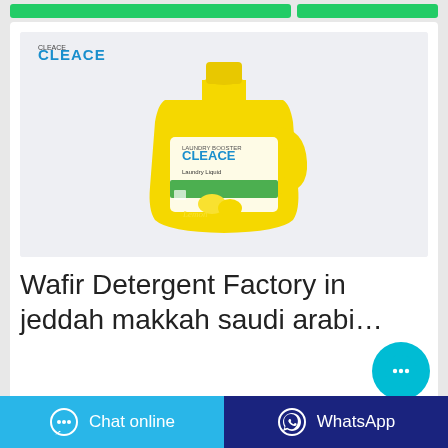[Figure (photo): Yellow Cleace laundry liquid detergent bottle with lemon scent branding on a light grey background, with Cleace logo in top left corner]
Wafir Detergent Factory in jeddah makkah saudi arabi…
...
[Figure (other): Circular teal/cyan chat bubble button with three dots icon]
Chat online | WhatsApp